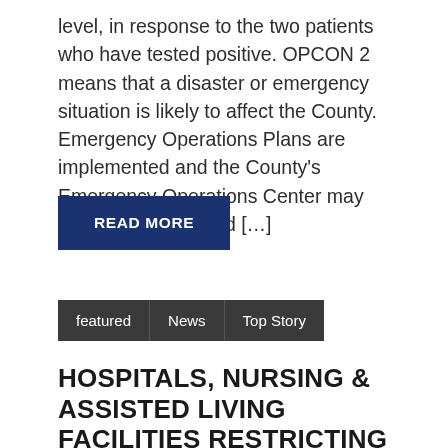level, in response to the two patients who have tested positive. OPCON 2 means that a disaster or emergency situation is likely to affect the County. Emergency Operations Plans are implemented and the County's Emergency Operations Center may be partially activated […]
READ MORE
featured
News
Top Story
HOSPITALS, NURSING & ASSISTED LIVING FACILITIES RESTRICTING VISITOR ACCESS
March 16, 2020 | Kevin D. Hollis |